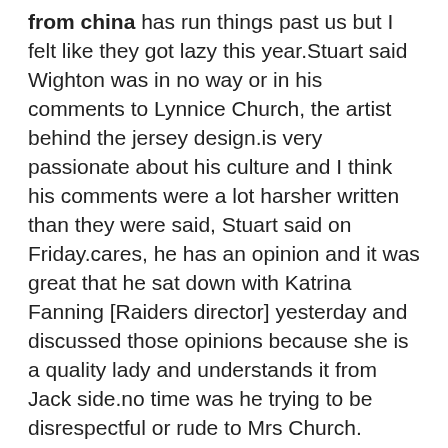from china has run things past us but I felt like they got lazy this year.Stuart said Wighton was in no way or in his comments to Lynnice Church, the artist behind the jersey design.is very passionate about his culture and I think his comments were a lot harsher written than they were said, Stuart said on Friday.cares, he has an opinion and it was great that he sat down with Katrina Fanning [Raiders director] yesterday and discussed those opinions because she is a quality lady and understands it from Jack side.no time was he trying to be disrespectful or rude to Mrs Church. Lynnice has done a wonderful job on the design of our jumper.should be very proud of what she done. Is an Aboriginal woman from the Ngunnawal, Wiradjuri and Kamilaroi tribes.While not being critical of the artist, Wighton believes the club could have gone to more effort in such a special round for his people.MATTY JOHNS PODCAST Matty, Blocker, and Kenty discuss their favourite forwards to ever play the gameLISTEN ON APPLE PODCASTSFor instance South Sydney jersey includes a handprint of the club eight Indigenous players and a totem for their tribe.. wholesale